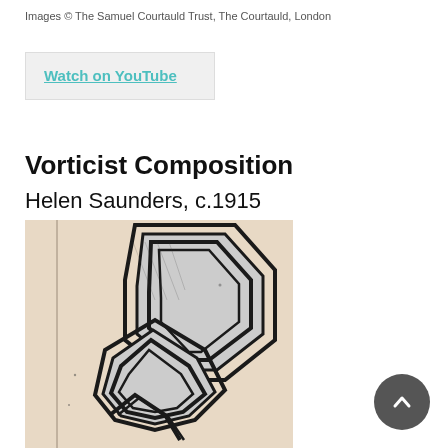Images © The Samuel Courtauld Trust, The Courtauld, London
Watch on YouTube
Vorticist Composition
Helen Saunders, c.1915
[Figure (illustration): Partial view of Helen Saunders' Vorticist Composition c.1915 showing bold black angular geometric forms on a cream/beige background, with nested angular lines creating a vortex-like pattern.]